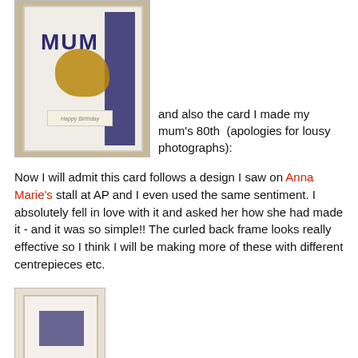[Figure (photo): A handmade birthday card for Mum with dark navy/purple polka dot paper, large 'MUM' text, decorative bird and floral elements, and a Happy Birthday ribbon at the bottom.]
and also the card I made my mum's 80th  (apologies for lousy photographs):
Now I will admit this card follows a design I saw on Anna Marie's stall at AP and I even used the same sentiment. I absolutely fell in love with it and asked her how she had made it - and it was so simple!! The curled back frame looks really effective so I think I will be making more of these with different centrepieces etc.
[Figure (photo): A second handmade card shown partially, with a cream/beige outer frame and dark navy inner panel with polka dot pattern visible at bottom.]